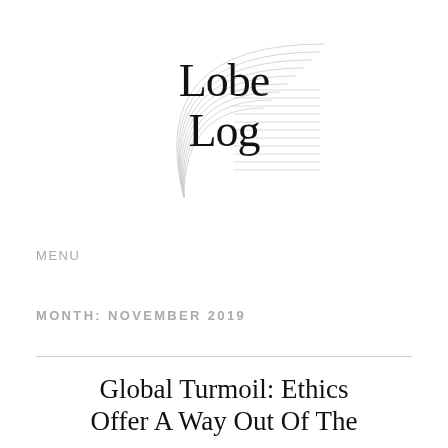[Figure (logo): LobeLog logo: stylized text 'Lobe Log' in serif font with decorative arc lines on the left and horizontal lines on the right forming a graphic emblem]
MENU
MONTH: NOVEMBER 2019
Global Turmoil: Ethics Offer A Way Out Of The